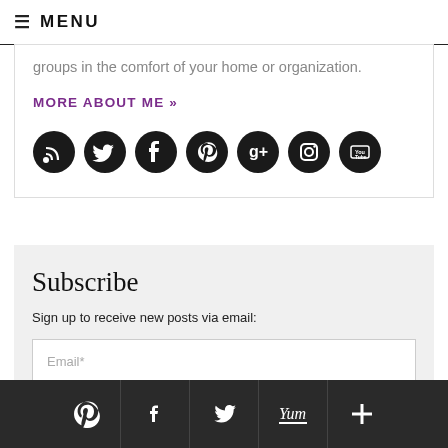≡ MENU
groups in the comfort of your home or organization.
MORE ABOUT ME »
[Figure (infographic): Row of 7 circular black social media icons: RSS, Twitter, Facebook, Pinterest, Google+, Instagram, YouTube]
Subscribe
Sign up to receive new posts via email:
Email*
Pinterest, Facebook, Twitter, Yum, Plus icons in bottom bar